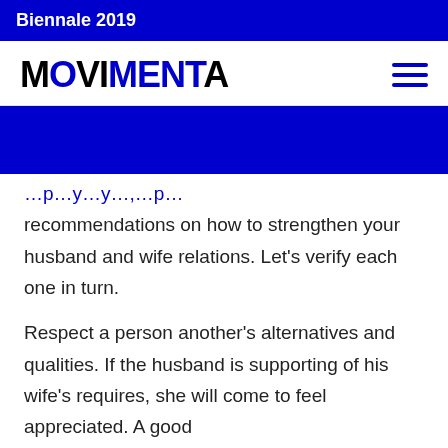Biennale 2019
MOVIMENTA
[Figure (other): Blue banner/hero image section]
recommendations on how to strengthen your husband and wife relations. Let's verify each one in turn.
Respect a person another's alternatives and qualities. If the husband is supporting of his wife's requires, she will come to feel appreciated. A good